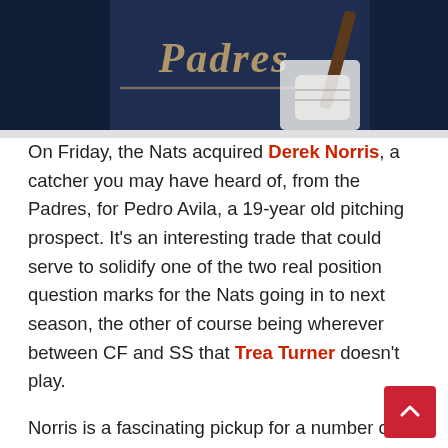[Figure (photo): Baseball player in San Diego Padres navy blue jersey holding a bat, close-up crop showing chest and hands with batting gloves]
On Friday, the Nats acquired Derek Norris, a catcher you may have heard of, from the Padres, for Pedro Avila, a 19-year old pitching prospect. It's an interesting trade that could serve to solidify one of the two real position question marks for the Nats going in to next season, the other of course being wherever between CF and SS that Trea Turner doesn't play.
Norris is a fascinating pickup for a number of reasons, not the least of which is that he once a highly regarded prospect for the Nats, before being moved in the Gio Gonzalez trade. He